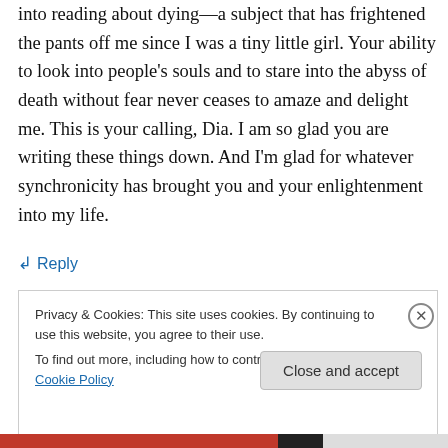into reading about dying—a subject that has frightened the pants off me since I was a tiny little girl. Your ability to look into people's souls and to stare into the abyss of death without fear never ceases to amaze and delight me. This is your calling, Dia. I am so glad you are writing these things down. And I'm glad for whatever synchronicity has brought you and your enlightenment into my life.
↳ Reply
Privacy & Cookies: This site uses cookies. By continuing to use this website, you agree to their use.
To find out more, including how to control cookies, see here: Cookie Policy
Close and accept